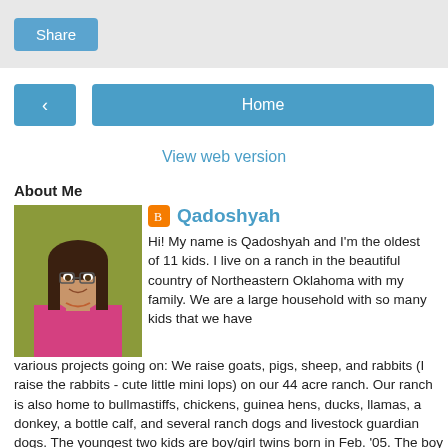Share
[Figure (screenshot): Navigation buttons: a back arrow button and a Home button]
View web version
About Me
[Figure (photo): Profile photo of Qadoshyah - a young woman with glasses and dark hair]
Qadoshyah
Hi! My name is Qadoshyah and I'm the oldest of 11 kids. I live on a ranch in the beautiful country of Northeastern Oklahoma with my family. We are a large household with so many kids that we have various projects going on: We raise goats, pigs, sheep, and rabbits (I raise the rabbits - cute little mini lops) on our 44 acre ranch. Our ranch is also home to bullmastiffs, chickens, guinea hens, ducks, llamas, a donkey, a bottle calf, and several ranch dogs and livestock guardian dogs. The youngest two kids are boy/girl twins born in Feb. '05. The boy happens to have Down syndrome. He is such a blessing to our family :)! Our whole family is also gluten-free, which adds another interesting aspect to our large, active family. We also